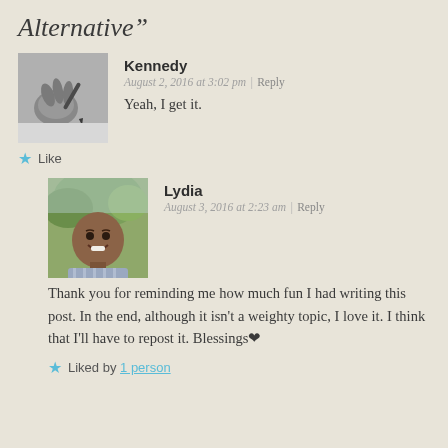Alternative"
[Figure (photo): Black and white photo of a hand holding a pen, writing]
Kennedy
August 2, 2016 at 3:02 pm | Reply
Yeah, I get it.
★ Like
[Figure (photo): Color photo of a smiling woman outdoors]
Lydia
August 3, 2016 at 2:23 am | Reply
Thank you for reminding me how much fun I had writing this post. In the end, although it isn't a weighty topic, I love it. I think that I'll have to repost it. Blessings❤
★ Liked by 1 person